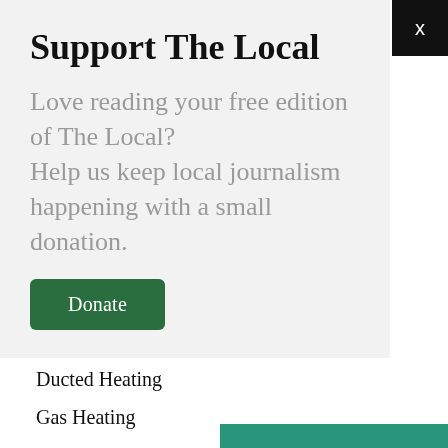Support The Local
Love reading your free edition of The Local?
Help us keep local journalism happening with a small donation.
Donate
Ducted Heating
Gas Heating
[Figure (photo): Teal/green background image, partially visible at bottom of page]